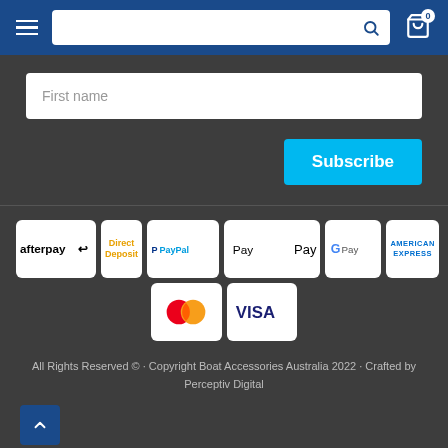Navigation header with hamburger menu, search bar, and cart icon (0 items)
First name
Subscribe
[Figure (infographic): Payment method logos: afterpay, Direct Deposit, PayPal, Apple Pay, Google Pay, American Express, Mastercard, Visa]
All Rights Reserved © · Copyright Boat Accessories Australia 2022 · Crafted by Perceptiv Digital